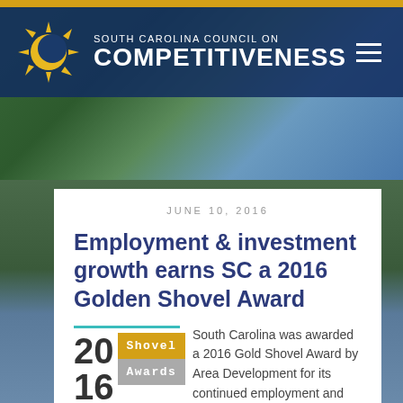South Carolina Council On Competitiveness
JUNE 10, 2016
Employment & investment growth earns SC a 2016 Golden Shovel Award
[Figure (logo): 2016 Shovel Awards logo with teal horizontal lines, large '2016' numerals, gold 'Shovel' box and gray 'Awards' box]
South Carolina was awarded a 2016 Gold Shovel Award by Area Development for its continued employment and